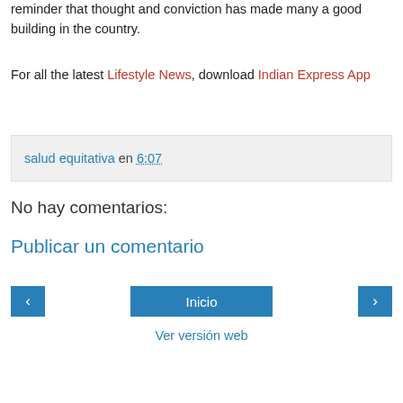reminder that thought and conviction has made many a good building in the country.
For all the latest Lifestyle News, download Indian Express App
salud equitativa en 6:07
No hay comentarios:
Publicar un comentario
‹
Inicio
›
Ver versión web